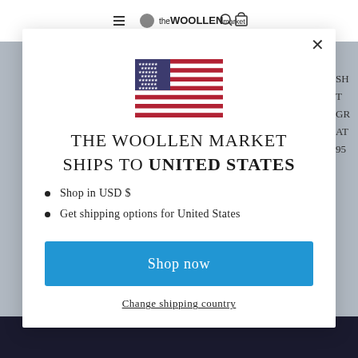[Figure (screenshot): Screenshot of The Woollen Market website header with logo]
[Figure (illustration): American flag SVG illustration]
THE WOOLLEN MARKET SHIPS TO UNITED STATES
Shop in USD $
Get shipping options for United States
Shop now
Change shipping country